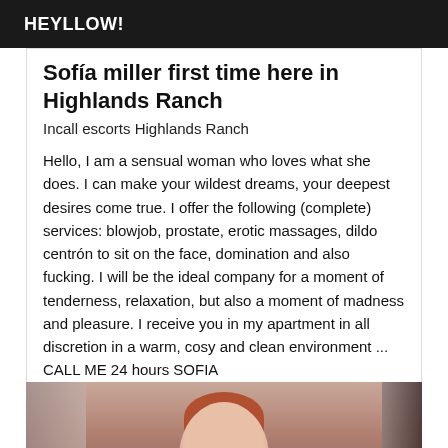HEYLLOW!
Sofía miller first time here in Highlands Ranch
Incall escorts Highlands Ranch
Hello, I am a sensual woman who loves what she does. I can make your wildest dreams, your deepest desires come true. I offer the following (complete) services: blowjob, prostate, erotic massages, dildo centrón to sit on the face, domination and also fucking. I will be the ideal company for a moment of tenderness, relaxation, but also a moment of madness and pleasure. I receive you in my apartment in all discretion in a warm, cosy and clean environment ... CALL ME 24 hours SOFIA
[Figure (photo): Photo of a woman with red/auburn hair, partially visible from the shoulders up, with curtains in the background.]